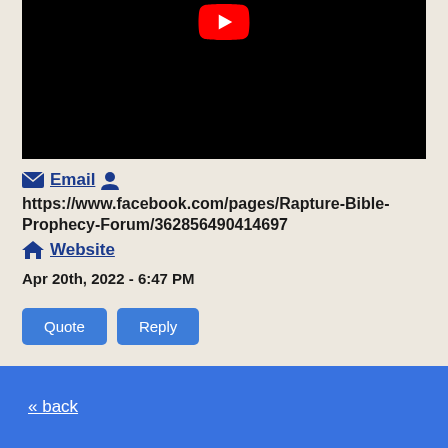[Figure (screenshot): YouTube video thumbnail with black background and red YouTube play button icon at top]
✉ Email  👤 https://www.facebook.com/pages/Rapture-Bible-Prophecy-Forum/362856490414697  🏠 Website
Apr 20th, 2022 - 6:47 PM
Quote  Reply
« back